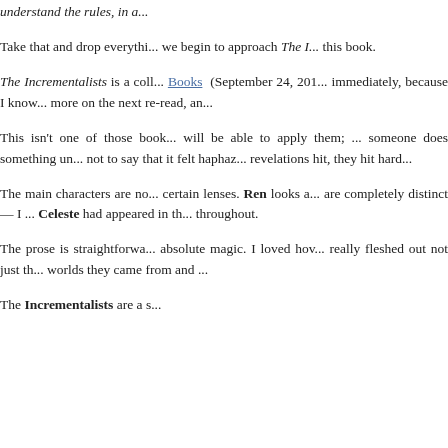understand the rules, in a...
Take that and drop everything we begin to approach The I... this book.
The Incrementalists is a coll... Books (September 24, 201... immediately, because I know... more on the next re-read, an...
This isn't one of those book... will be able to apply them; ... someone does something un... not to say that it felt haphaz... revelations hit, they hit hard...
The main characters are no... certain lenses. Ren looks a... are completely distinct — I ... Celeste had appeared in th... throughout.
The prose is straightforwa... absolute magic. I loved hov... really fleshed out not just th... worlds they came from and ...
The Incrementalists are a s...